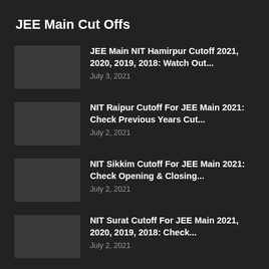JEE Main Cut Offs
JEE Main NIT Hamirpur Cutoff 2021, 2020, 2019, 2018: Watch Out...
July 3, 2021
NIT Raipur Cutoff For JEE Main 2021: Check Previous Years Cut...
July 2, 2021
NIT Sikkim Cutoff For JEE Main 2021: Check Opening & Closing...
July 2, 2021
NIT Surat Cutoff For JEE Main 2021, 2020, 2019, 2018: Check...
July 2, 2021